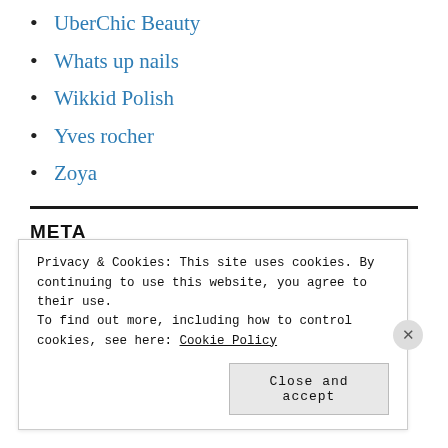UberChic Beauty
Whats up nails
Wikkid Polish
Yves rocher
Zoya
META
Register
Privacy & Cookies: This site uses cookies. By continuing to use this website, you agree to their use.
To find out more, including how to control cookies, see here: Cookie Policy
Close and accept